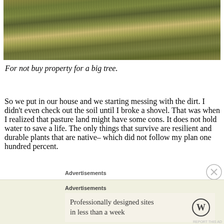[Figure (photo): Photograph of dry pasture land with sparse grass and brown/green tones, aerial or ground-level view of open grassland]
For not buy property for a big tree.
So we put in our house and we starting messing with the dirt. I didn't even check out the soil until I broke a shovel. That was when I realized that pasture land might have some cons. It does not hold water to save a life. The only things that survive are resilient and durable plants that are native– which did not follow my plan one hundred percent.
Advertisements
Advertisements
Professionally designed sites in less than a week